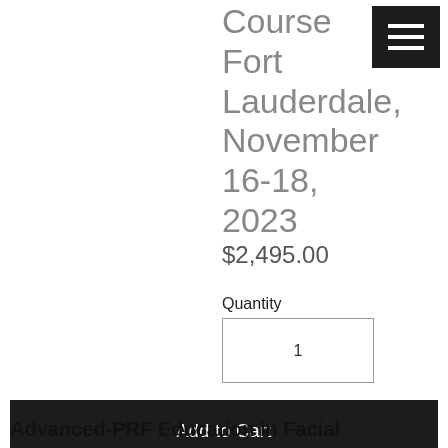Course Fort Lauderdale, November 16-18, 2023
$2,495.00
Quantity
1
Add to Cart
Advanced-PRF Education in Facial Aesthetics
3-Day Course - Come learn Facial Esthetics with the top doctors using PRF